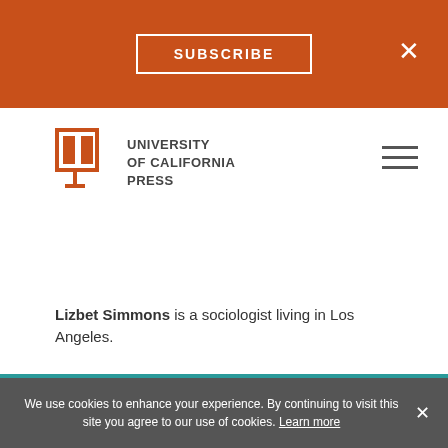SUBSCRIBE
[Figure (logo): University of California Press logo with open book icon in burnt orange]
Lizbet Simmons is a sociologist living in Los Angeles.
Reviews
"The Prison School is a disturbing and important book."—New York Journal of Books
We use cookies to enhance your experience. By continuing to visit this site you agree to our use of cookies. Learn more